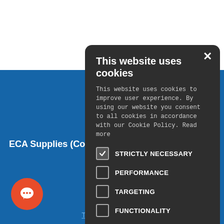[Figure (screenshot): Website background with blue color and white top section]
ECA Supplies (Co
[Figure (screenshot): Cookie consent modal popup with dark background]
This website uses cookies
This website uses cookies to improve user experience. By using our website you consent to all cookies in accordance with our Cookie Policy. Read more
STRICTLY NECESSARY (checked)
PERFORMANCE (unchecked)
TARGETING (unchecked)
FUNCTIONALITY (unchecked)
ACCEPT ALL
DECLINE ALL
SHOW DETAILS
Terms & Conditions